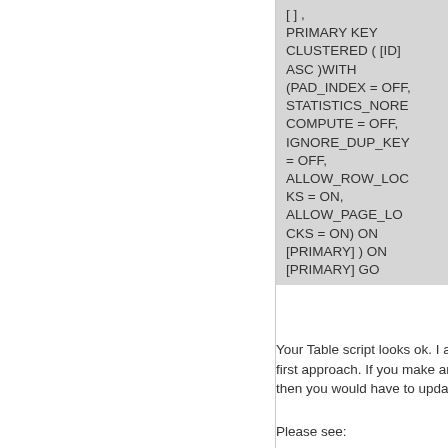[Figure (screenshot): Code block showing SQL PRIMARY KEY CLUSTERED constraint definition with options: PAD_INDEX = OFF, STATISTICS_NORECOMPUTE = OFF, IGNORE_DUP_KEY = OFF, ALLOW_ROW_LOCKS = ON, ALLOW_PAGE_LOCKS = ON) ON [PRIMARY] ) ON [PRIMARY] GO]
Your Table script looks ok. I assumed you used database first approach. If you make any changes to the database then you would have to update the model.
Please see: